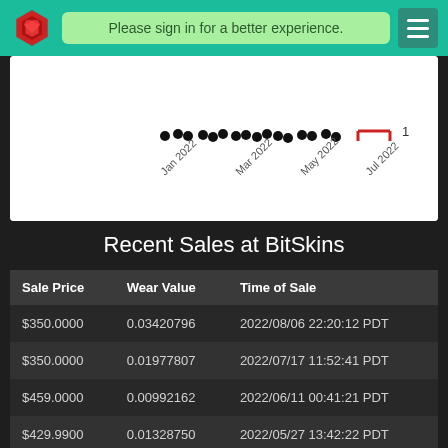Please sign in for a better experience.
[Figure (scatter-plot): Partial scatter plot showing price data over time from Jan 2022 to Jul 2022, x-axis labels: Jan 2022, Mar 2022, May 2022, Jul 2022. A red line segment is visible at the right side near value 1.]
Recent Sales at BitSkins
| Sale Price | Wear Value | Time of Sale |
| --- | --- | --- |
| $350.0000 | 0.03420796 | 2022/08/06 22:20:12 PDT |
| $350.0000 | 0.01977807 | 2022/07/17 11:52:41 PDT |
| $459.0000 | 0.00992162 | 2022/06/11 00:41:21 PDT |
| $429.9900 | 0.01328750 | 2022/05/27 13:42:22 PDT |
| $407.0000 | 0.03365047 | 2022/05/23 10:51:32 PDT |